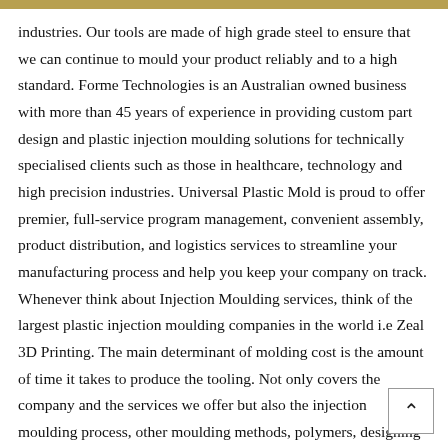industries. Our tools are made of high grade steel to ensure that we can continue to mould your product reliably and to a high standard. Forme Technologies is an Australian owned business with more than 45 years of experience in providing custom part design and plastic injection moulding solutions for technically specialised clients such as those in healthcare, technology and high precision industries. Universal Plastic Mold is proud to offer premier, full-service program management, convenient assembly, product distribution, and logistics services to streamline your manufacturing process and help you keep your company on track. Whenever think about Injection Moulding services, think of the largest plastic injection moulding companies in the world i.e Zeal 3D Printing. The main determinant of molding cost is the amount of time it takes to produce the tooling. Not only covers the company and the services we offer but also the injection moulding process, other moulding methods, polymers, designing for plastics, application stories and other articles relating to plastic injection moulding. Patterson and Rothwell have